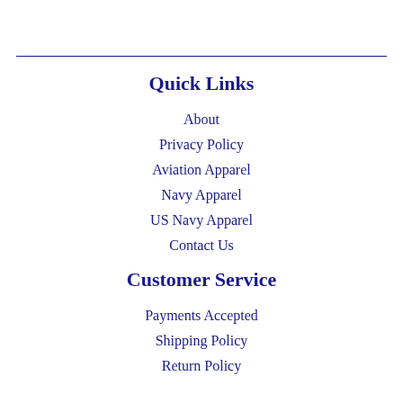Quick Links
About
Privacy Policy
Aviation Apparel
Navy Apparel
US Navy Apparel
Contact Us
Customer Service
Payments Accepted
Shipping Policy
Return Policy